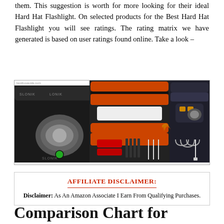them. This suggestion is worth for more looking for their ideal Hard Hat Flashlight. On selected products for the Best Hard Hat Flashlight you will see ratings. The rating matrix we have generated is based on user ratings found online. Take a look –
[Figure (photo): Three headlamp/flashlight products displayed side by side: a black headlamp with green indicator on the left, orange and black headlamps in the middle with accessories, and a dark headlamp on the right with accessories including USB cables and hooks.]
AFFILIATE DISCLAIMER: Disclaimer: As An Amazon Associate I Earn From Qualifying Purchases.
Comparison Chart for